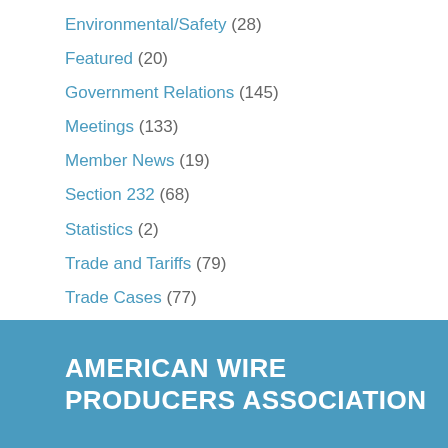Environmental/Safety (28)
Featured (20)
Government Relations (145)
Meetings (133)
Member News (19)
Section 232 (68)
Statistics (2)
Trade and Tariffs (79)
Trade Cases (77)
Uncategorized (12)
Workforce Development (13)
AMERICAN WIRE PRODUCERS ASSOCIATION